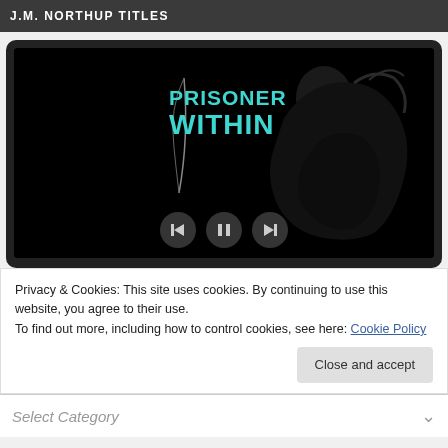J.M. NORTHUP TITLES
[Figure (screenshot): A media player widget showing the book cover for 'Prisoner Within' — dark background with teal/cyan title text and silhouette of a person, with playback controls (back, pause, forward) at the bottom.]
Privacy & Cookies: This site uses cookies. By continuing to use this website, you agree to their use.
To find out more, including how to control cookies, see here: Cookie Policy
Close and accept
Select Category